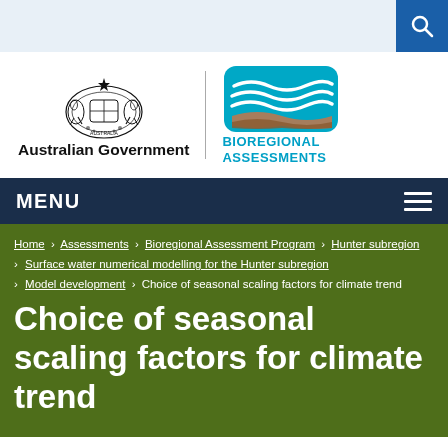[Figure (logo): Australian Government coat of arms and Bioregional Assessments logo header]
MENU
Home > Assessments > Bioregional Assessment Program > Hunter subregion > Surface water numerical modelling for the Hunter subregion > Model development > Choice of seasonal scaling factors for climate trend
Choice of seasonal scaling factors for climate trend